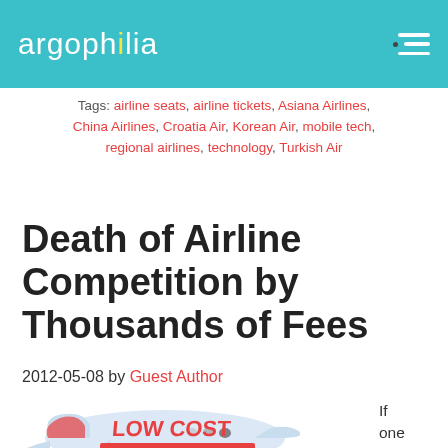argophilia
Tags: airline seats, airline tickets, Asiana Airlines, China Airlines, Croatia Air, Korean Air, mobile tech, regional airlines, technology, Turkish Air
Death of Airline Competition by Thousands of Fees
2012-05-08 by Guest Author
[Figure (illustration): Cartoon airplane with 'LOW COST' written on the fuselage in red letters]
If one were to